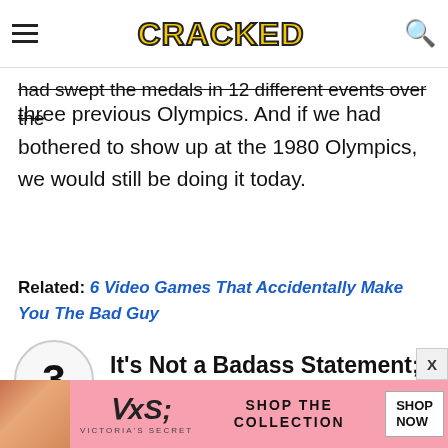CRACKED
had swept the medals in 12 different events over the three previous Olympics. And if we had bothered to show up at the 1980 Olympics, we would still be doing it today.
Related: 6 Video Games That Accidentally Make You The Bad Guy
3 It's Not a Badass Statement; It's a Boring Tradition
[Figure (other): Victoria's Secret advertisement banner with model photo, VS logo, 'SHOP THE COLLECTION' text, and 'SHOP NOW' button]